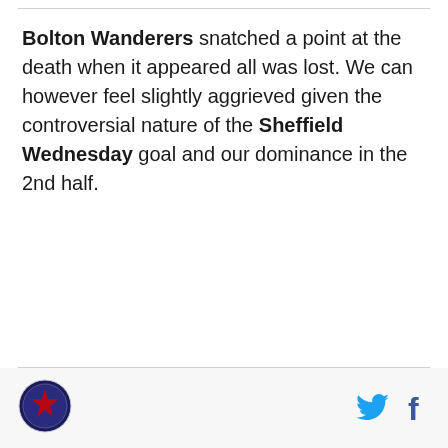Bolton Wanderers snatched a point at the death when it appeared all was lost. We can however feel slightly aggrieved given the controversial nature of the Sheffield Wednesday goal and our dominance in the 2nd half.
[Figure (logo): Bolton Wanderers circular club badge/logo in the footer]
[Figure (illustration): Twitter bird icon and Facebook 'f' icon in the footer, right side]